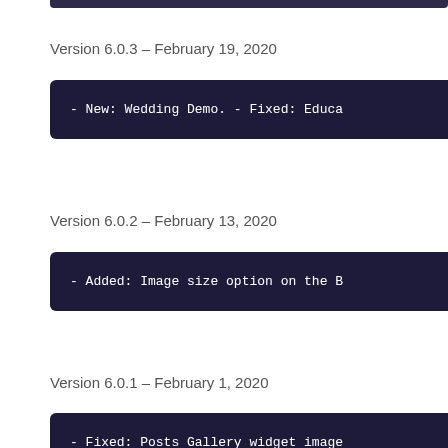Version 6.0.3 – February 19, 2020
- New: Wedding Demo. - Fixed: Educa
Version 6.0.2 – February 13, 2020
- Added: Image size option on the B
Version 6.0.1 – February 1, 2020
- Fixed: Posts Gallery widget image